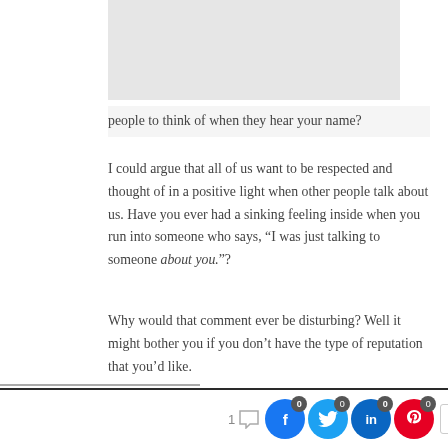[Figure (illustration): Partially visible image area at top of page, gray background with white sections on left and right edges]
people to think of when they hear your name?
I could argue that all of us want to be respected and thought of in a positive light when other people talk about us. Have you ever had a sinking feeling inside when you run into someone who says, “I was just talking to someone about you.”?
Why would that comment ever be disturbing? Well it might bother you if you don’t have the type of reputation that you’d like.
However, someone of great character would never
1 [comment] [Facebook 0] [Twitter 0] [LinkedIn 0] [Pinterest 0] [< >]